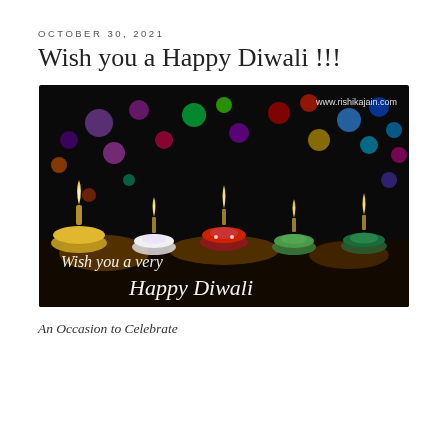OCTOBER 30, 2021
Wish you a Happy Diwali !!!
[Figure (photo): Diwali celebration photo showing five decorated clay diyas (oil lamps) with flames on a dark reflective surface, with colorful bokeh lights in background. Text overlay reads 'Wish you a very Happy Diwali'. Watermark: www.rishikajain.com]
An Occasion to Celebrate